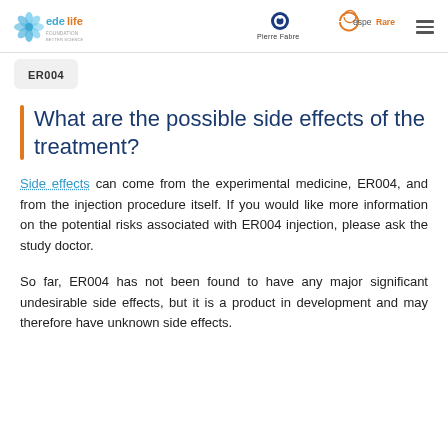edelife | Pierre Fabre | espeRare
ER004
What are the possible side effects of the treatment?
Side effects can come from the experimental medicine, ER004, and from the injection procedure itself. If you would like more information on the potential risks associated with ER004 injection, please ask the study doctor.
So far, ER004 has not been found to have any major significant undesirable side effects, but it is a product in development and may therefore have unknown side effects.